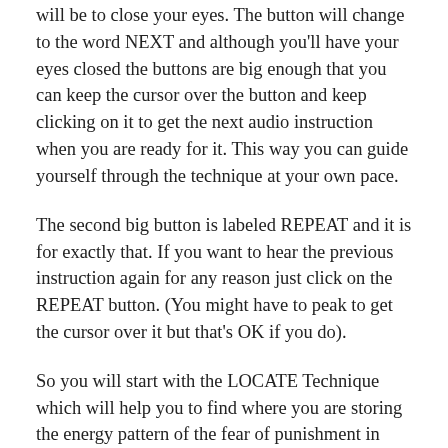will be to close your eyes. The button will change to the word NEXT and although you'll have your eyes closed the buttons are big enough that you can keep the cursor over the button and keep clicking on it to get the next audio instruction when you are ready for it. This way you can guide yourself through the technique at your own pace.
The second big button is labeled REPEAT and it is for exactly that. If you want to hear the previous instruction again for any reason just click on the REPEAT button. (You might have to peak to get the cursor over it but that's OK if you do).
So you will start with the LOCATE Technique which will help you to find where you are storing the energy pattern of the fear of punishment in your body. As soon as you find it you will shift to the IN Technique (you may have to open your eyes for a moment to click on the corresponding link in the above third button).